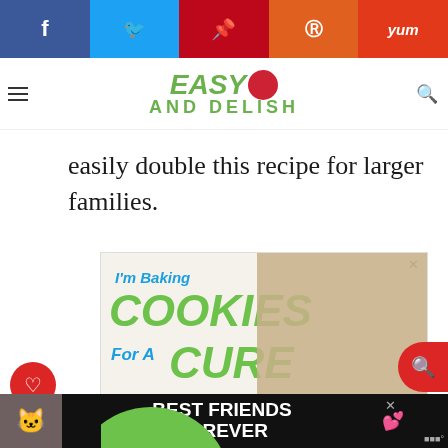f | Twitter | Pinterest | Reddit | Yum
[Figure (logo): Easy and Delish website logo with green text and red circle]
easily double this recipe for larger families.
[Figure (infographic): I'm Baking COOKIES For A CURE So can you! Cookies for kids' cancer. Haldora, 11 Cancer Survivor]
WHAT'S NEXT → Crispy Smashed...
[Figure (photo): Cat photo with Best Friends Forever advertisement banner]